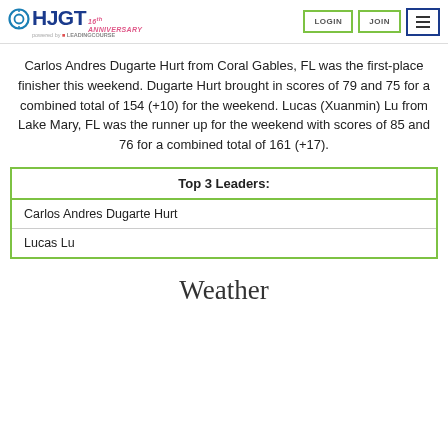HJGT 16th Anniversary — LOGIN | JOIN | Menu
Carlos Andres Dugarte Hurt from Coral Gables, FL was the first-place finisher this weekend. Dugarte Hurt brought in scores of 79 and 75 for a combined total of 154 (+10) for the weekend. Lucas (Xuanmin) Lu from Lake Mary, FL was the runner up for the weekend with scores of 85 and 76 for a combined total of 161 (+17).
| Top 3 Leaders: |
| --- |
| Carlos Andres Dugarte Hurt |
| Lucas Lu |
Weather